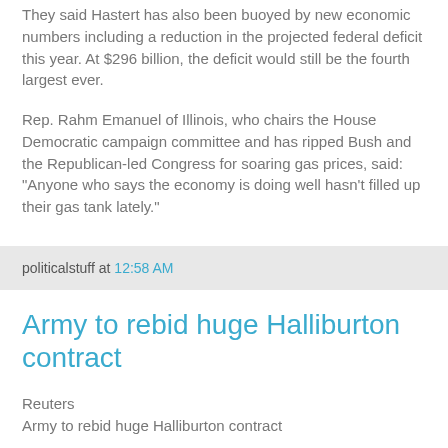They said Hastert has also been buoyed by new economic numbers including a reduction in the projected federal deficit this year. At $296 billion, the deficit would still be the fourth largest ever.
Rep. Rahm Emanuel of Illinois, who chairs the House Democratic campaign committee and has ripped Bush and the Republican-led Congress for soaring gas prices, said: "Anyone who says the economy is doing well hasn't filled up their gas tank lately."
politicalstuff at 12:58 AM
Army to rebid huge Halliburton contract
Reuters
Army to rebid huge Halliburton contract